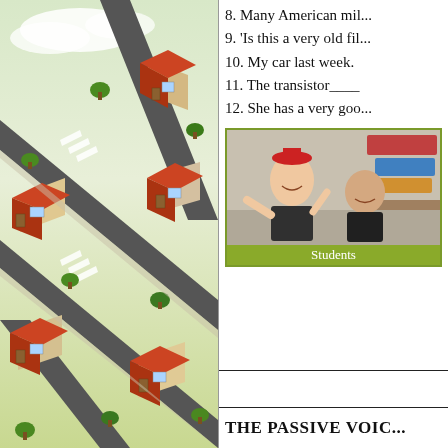[Figure (illustration): Aerial isometric view illustration of a residential neighborhood with houses with red roofs, roads, crosswalks, and trees.]
8. Many American mil...
9. 'Is this a very old fil...
10. My car last week.
11. The transistor____
12. She has a very goo...
[Figure (photo): Photo of two students, one wearing a red party hat, sitting together in a room.]
Students
THE PASSIVE VOIC...